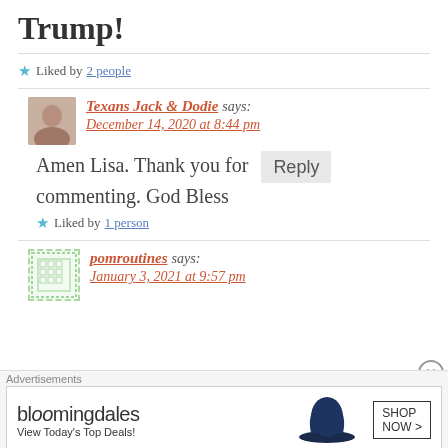Trump!
★ Liked by 2 people
Texans Jack & Dodie says: December 14, 2020 at 8:44 pm
Amen Lisa. Thank you for commenting. God Bless
★ Liked by 1 person
pomroutines says: January 3, 2021 at 9:57 pm
Advertisements bloomingdales View Today's Top Deals! SHOP NOW >